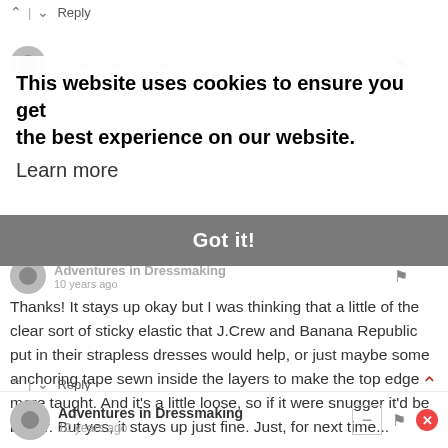^ | ∨  Reply
Adventures in Dressmaking
This website uses cookies to ensure you get the best experience on our website. Learn more
Adventures in Dressmaking
10 years ago
Got it!
Thanks! It stays up okay but I was thinking that a little of the clear sort of sticky elastic that J.Crew and Banana Republic put in their strapless dresses would help, or just maybe some anchoring tape sewn inside the layers to make the top edge more taught. And it's a little loose, so if it were snugger it'd be better. But yes, it stays up just fine. Just, for next time...
Yes, the nice weather makes it WAY more fun and easy to upcycle into summer dresses! My fave!
^ | ∨  Reply
Adventures in Dressmaking
10 years ago